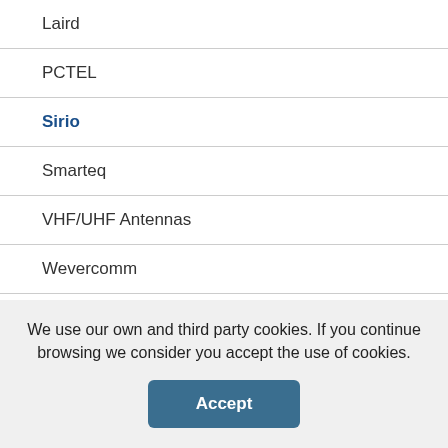Laird
PCTEL
Sirio
Smarteq
VHF/UHF Antennas
Wevercomm
WiFi Antennas
We use our own and third party cookies. If you continue browsing we consider you accept the use of cookies.
Accept